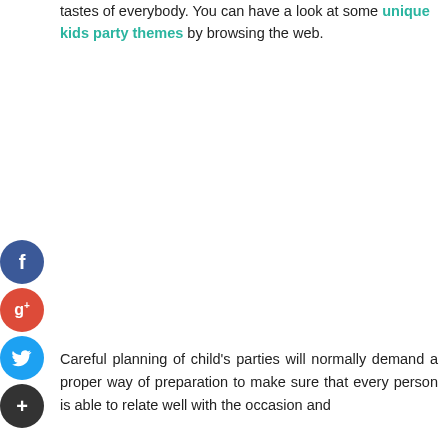tastes of everybody. You can have a look at some unique kids party themes by browsing the web.
[Figure (infographic): Social sharing icons: Facebook (blue circle with f), Google+ (red circle with g+), Twitter (blue circle with bird), Add/Plus (dark circle with +)]
Careful planning of child's parties will normally demand a proper way of preparation to make sure that every person is able to relate well with the occasion and